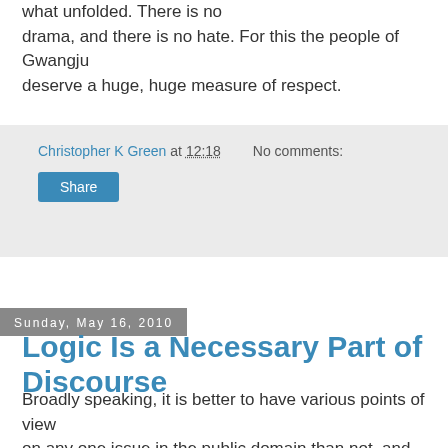what unfolded. There is no drama, and there is no hate. For this the people of Gwangju deserve a huge, huge measure of respect.
Christopher K Green at 12:18   No comments:
Share
Sunday, May 16, 2010
Logic Is a Necessary Part of Discourse
Broadly speaking, it is better to have various points of view on any one issue in the public domain than not, and this op-ed piece by Selig Harrison in the Hankyoreh does nothing to change that.
Nevertheless, it is an uncomfortable read. Inevitably, the most quoted part will be;
I don't know whether North Korea torpedoed the Cheonan, but I wouldn't be surprised if it did, b...